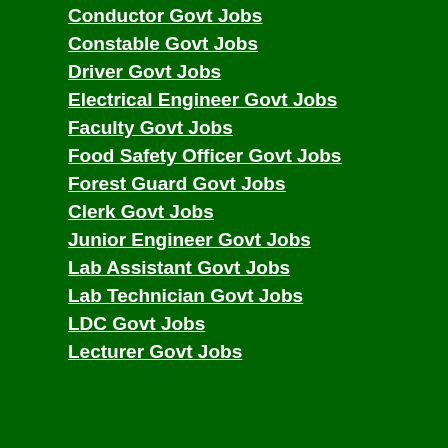Conductor Govt Jobs
Constable Govt Jobs
Driver Govt Jobs
Electrical Engineer Govt Jobs
Faculty Govt Jobs
Food Safety Officer Govt Jobs
Forest Guard Govt Jobs
Clerk Govt Jobs
Junior Engineer Govt Jobs
Lab Assistant Govt Jobs
Lab Technician Govt Jobs
LDC Govt Jobs
Lecturer Govt Jobs